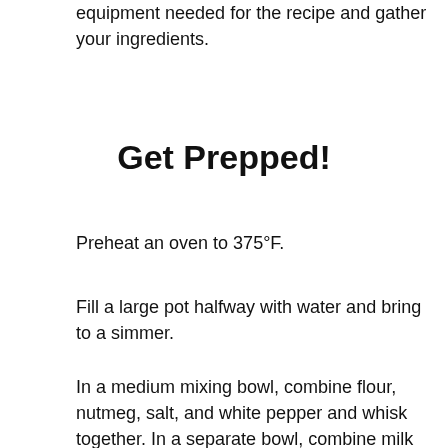equipment needed for the recipe and gather your ingredients.
Get Prepped!
Preheat an oven to 375°F.
Fill a large pot halfway with water and bring to a simmer.
In a medium mixing bowl, combine flour, nutmeg, salt, and white pepper and whisk together. In a separate bowl, combine milk with eggs and whisk well. Add the milk and egg mixture into the flour mixture and beat with